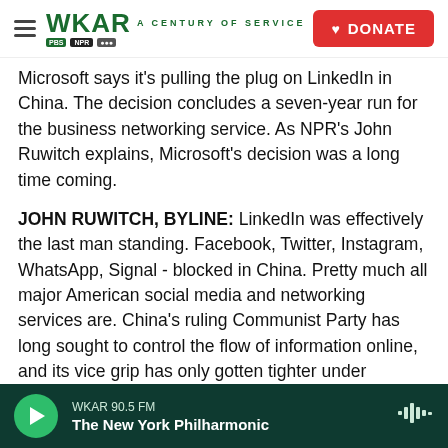WKAR A CENTURY OF SERVICE | DONATE
Microsoft says it's pulling the plug on LinkedIn in China. The decision concludes a seven-year run for the business networking service. As NPR's John Ruwitch explains, Microsoft's decision was a long time coming.
JOHN RUWITCH, BYLINE: LinkedIn was effectively the last man standing. Facebook, Twitter, Instagram, WhatsApp, Signal - blocked in China. Pretty much all major American social media and networking services are. China's ruling Communist Party has long sought to control the flow of information online, and its vice grip has only gotten tighter under President Xi Jinping. Earlier this
WKAR 90.5 FM | The New York Philharmonic